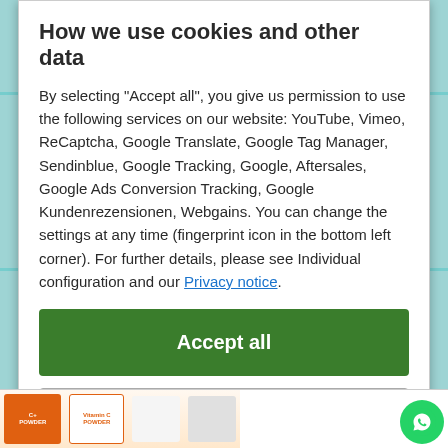How we use cookies and other data
By selecting "Accept all", you give us permission to use the following services on our website: YouTube, Vimeo, ReCaptcha, Google Translate, Google Tag Manager, Sendinblue, Google Tracking, Google, Aftersales, Google Ads Conversion Tracking, Google Kundenrezensionen, Webgains. You can change the settings at any time (fingerprint icon in the bottom left corner). For further details, please see Individual configuration and our Privacy notice.
Accept all
Close
Configuration
[Figure (screenshot): Bottom strip showing product images (vitamin C powder orange boxes) and a WhatsApp button]